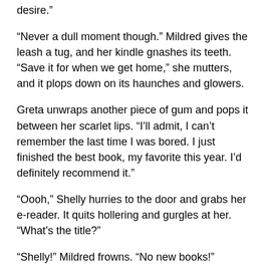desire.”
“Never a dull moment though.” Mildred gives the leash a tug, and her kindle gnashes its teeth. “Save it for when we get home,” she mutters, and it plops down on its haunches and glowers.
Greta unwraps another piece of gum and pops it between her scarlet lips. “I’ll admit, I can’t remember the last time I was bored. I just finished the best book, my favorite this year. I’d definitely recommend it.”
“Oooh,” Shelly hurries to the door and grabs her e-reader. It quits hollering and gurgles at her. “What’s the title?”
“Shelly!” Mildred frowns. “No new books!”
Shelly stops short and pouts as she takes her seat. “But…